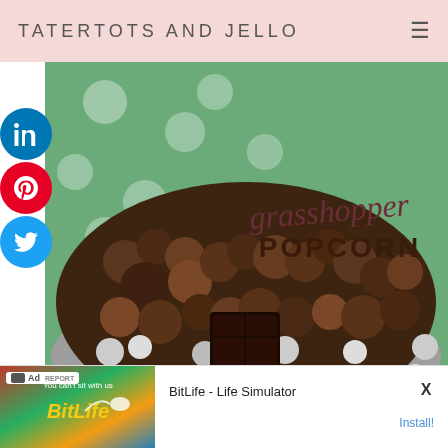TATERTOTS AND JELLO
[Figure (photo): A bowl of grasshopper popcorn - chocolate-covered popcorn mixed with dark chocolate pieces, with 'grasshopper POPCORN' text overlay. Background shows green polka dot fabric.]
[Figure (screenshot): Advertisement for BitLife - Life Simulator app with 'Ad' label, colorful banner image, and Install button]